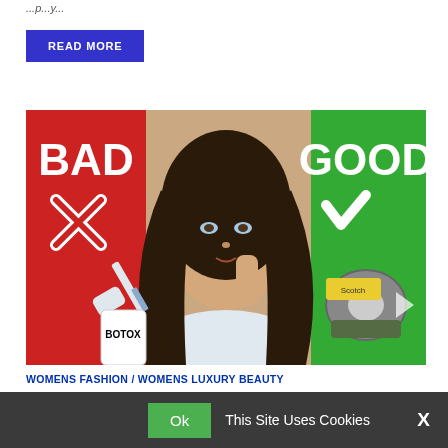…
READ MORE
[Figure (photo): Woman with dark hair looking surprised, with a red 'BAD' panel on left showing a syringe and Botox bottle, and green 'GOOD' panel on right showing a Scotch tape dispenser. Red X and green checkmark icons visible.]
WOMENS FASHION / WOMENS LUXURY BEAUTY
Ok  This Site Uses Cookies  X